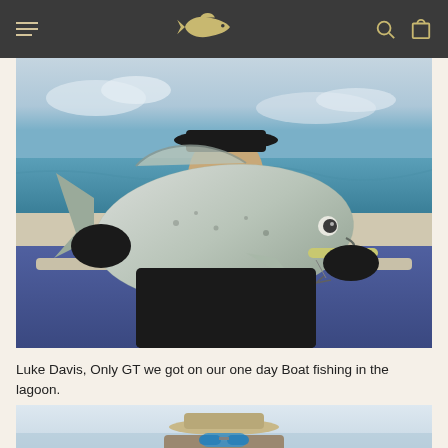Navigation bar with hamburger menu, fish logo, search and cart icons
[Figure (photo): A young man wearing a black hat and black gloves holding a large silver Giant Trevally (GT) fish with a lure in its mouth, on a boat with blue ocean and sky in background]
Luke Davis, Only GT we got on our one day Boat fishing in the lagoon.
[Figure (photo): Partial view of a person wearing a tan/beige bucket hat and blue reflective sunglasses, with ocean and sky visible in background]